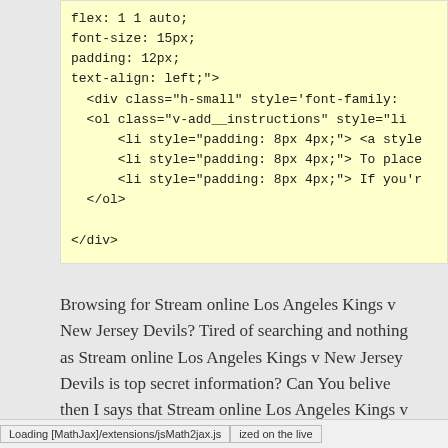[Figure (screenshot): Code snippet on yellow background showing CSS and HTML: flex: 1 1 auto; font-size: 15px; padding: 12px; text-align: left;"> followed by HTML div and ol/li elements]
Browsing for Stream online Los Angeles Kings v New Jersey Devils? Tired of searching and nothing as Stream online Los Angeles Kings v New Jersey Devils is top secret information? Can You belive then I says that Stream online Los Angeles Kings v New Jersey Devils and others live streaming simply ized on the live
Loading [MathJax]/extensions/jsMath2jax.js   ized on the live